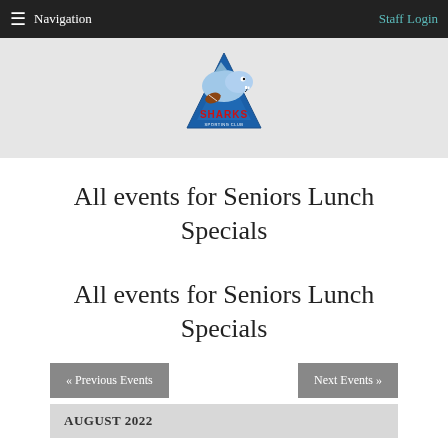≡ Navigation   Staff Login
[Figure (logo): Sharks Sporting Club logo — cartoon shark holding a football, with a blue triangular banner and red text 'SHARKS']
All events for Seniors Lunch Specials
All events for Seniors Lunch Specials
« Previous Events
Next Events »
AUGUST 2022